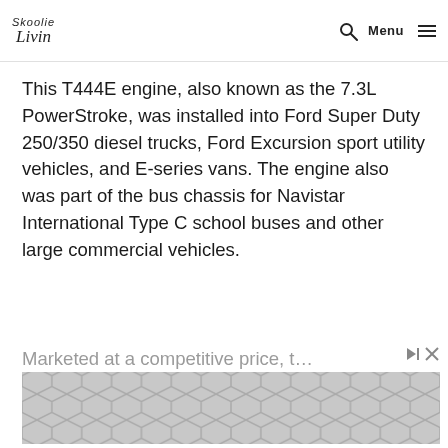Skoolie Livin — Menu
This T444E engine, also known as the 7.3L PowerStroke, was installed into Ford Super Duty 250/350 diesel trucks, Ford Excursion sport utility vehicles, and E-series vans. The engine also was part of the bus chassis for Navistar International Type C school buses and other large commercial vehicles.
Marketed at a competitive price, the…